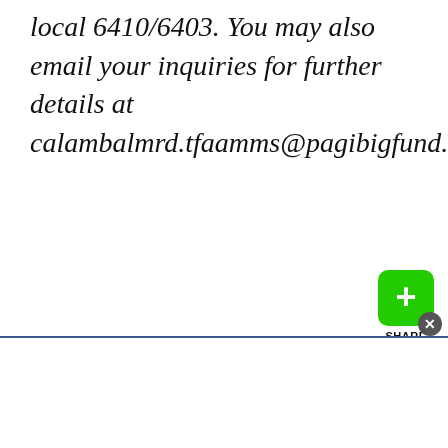local 6410/6403. You may also email your inquiries for further details at calambalmrd.tfaamms@pagibigfund.gov.ph”
[Figure (other): Green share button with plus icon and SHARE label below]